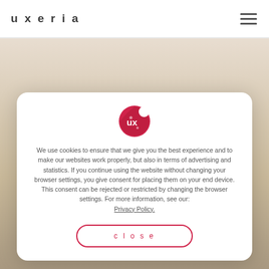uxeria
[Figure (screenshot): Cookie consent modal dialog with Uxeria logo, cookie policy text, and a close button on a white background with a photo below]
We use cookies to ensure that we give you the best experience and to make our websites work properly, but also in terms of advertising and statistics. If you continue using the website without changing your browser settings, you give consent for placing them on your end device. This consent can be rejected or restricted by changing the browser settings. For more information, see our: Privacy Policy.
close